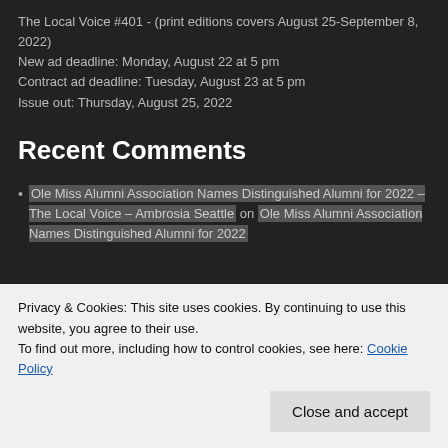The Local Voice #401 - (print editions covers August 25-September 8, 2022)
New ad deadline: Monday, August 22 at 5 pm
Contract ad deadline: Tuesday, August 23 at 5 pm
Issue out: Thursday, August 25, 2022
Recent Comments
Ole Miss Alumni Association Names Distinguished Alumni for 2022 – The Local Voice – Ambrosia Seattle on Ole Miss Alumni Association Names Distinguished Alumni for 2022
Privacy & Cookies: This site uses cookies. By continuing to use this website, you agree to their use.
To find out more, including how to control cookies, see here: Cookie Policy
Close and accept
Exploring Biology Beyond the Classroom: Off-